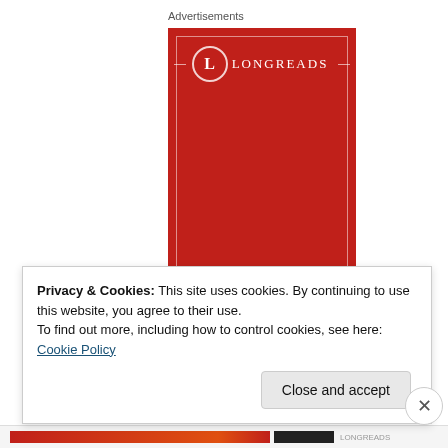Advertisements
[Figure (illustration): Longreads advertisement banner on red background with logo at top and tagline 'The best stories on the web – ours.' in white serif font]
Privacy & Cookies: This site uses cookies. By continuing to use this website, you agree to their use.
To find out more, including how to control cookies, see here: Cookie Policy
Close and accept